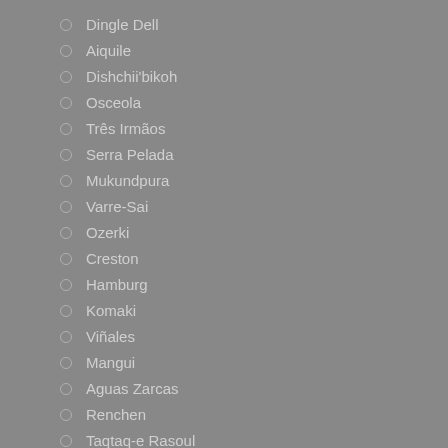Dingle Dell
Aiquile
Dishchii'bikoh
Osceola
Três Irmãos
Serra Pelada
Mukundpura
Varre-Sai
Ozerki
Creston
Hamburg
Komaki
Viñales
Mangui
Aguas Zarcas
Renchen
Taqtaq-e Rasoul
Aba Panu